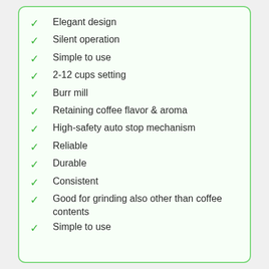Elegant design
Silent operation
Simple to use
2-12 cups setting
Burr mill
Retaining coffee flavor & aroma
High-safety auto stop mechanism
Reliable
Durable
Consistent
Good for grinding also other than coffee contents
Simple to use